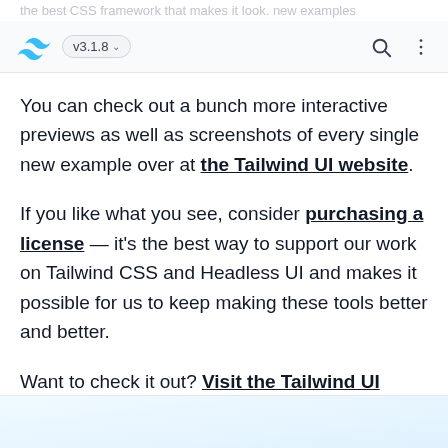v3.1.8
You can check out a bunch more interactive previews as well as screenshots of every single new example over at the Tailwind UI website.
If you like what you see, consider purchasing a license — it's the best way to support our work on Tailwind CSS and Headless UI and makes it possible for us to keep making these tools better and better.
Want to check it out? Visit the Tailwind UI website →